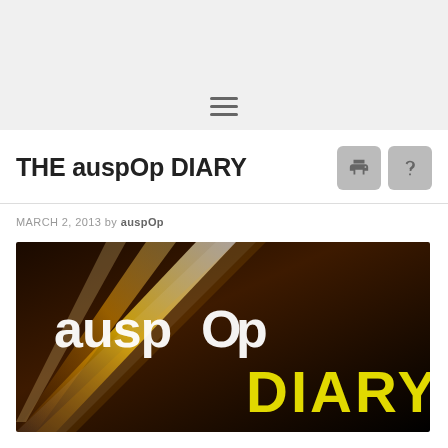≡ (hamburger menu)
THE auspOp DIARY
MARCH 2, 2013 by auspOp
[Figure (photo): auspOp Diary logo image: dark background with golden light streaks, white text 'auspOp' and yellow text 'DIARY']